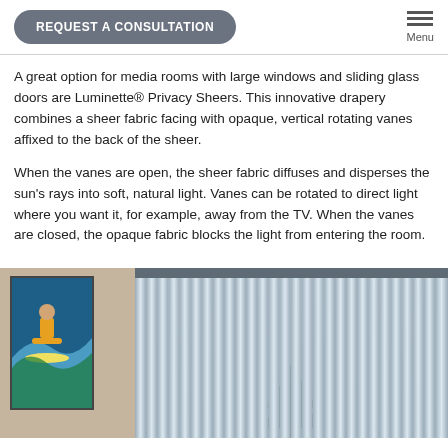REQUEST A CONSULTATION | Menu
A great option for media rooms with large windows and sliding glass doors are Luminette® Privacy Sheers. This innovative drapery combines a sheer fabric facing with opaque, vertical rotating vanes affixed to the back of the sheer.
When the vanes are open, the sheer fabric diffuses and disperses the sun's rays into soft, natural light. Vanes can be rotated to direct light where you want it, for example, away from the TV. When the vanes are closed, the opaque fabric blocks the light from entering the room.
[Figure (photo): Interior photo showing a room with a sliding glass door covered by Luminette Privacy Sheer vertical blinds. On the left wall is a colorful surfer artwork. The blinds show vertical vanes with a view of trees through the window.]